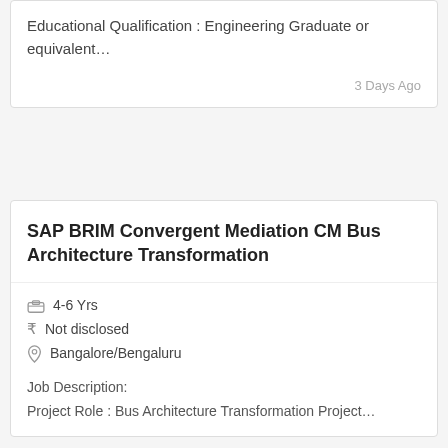Educational Qualification : Engineering Graduate or equivalent…
3 Days Ago
SAP BRIM Convergent Mediation CM Bus Architecture Transformation
4-6 Yrs
Not disclosed
Bangalore/Bengaluru
Job Description:
Project Role : Bus Architecture Transformation Project…